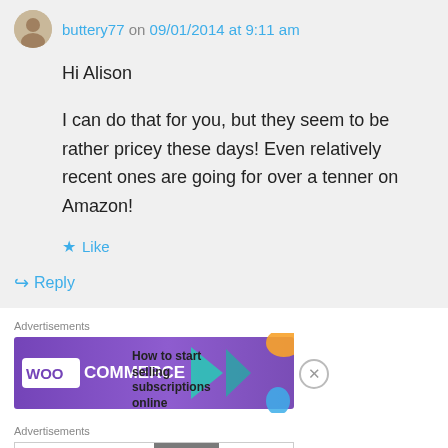buttery77 on 09/01/2014 at 9:11 am
Hi Alison

I can do that for you, but they seem to be rather pricey these days! Even relatively recent ones are going for over a tenner on Amazon!
Like
Reply
[Figure (screenshot): WooCommerce advertisement banner: purple background with WooCommerce logo and text 'How to start selling subscriptions online' with a teal arrow shape]
Advertisements
[Figure (screenshot): Bloomingdale's advertisement: 'View Today's Top Deals!' with a model in a wide-brimmed hat and SHOP NOW > button]